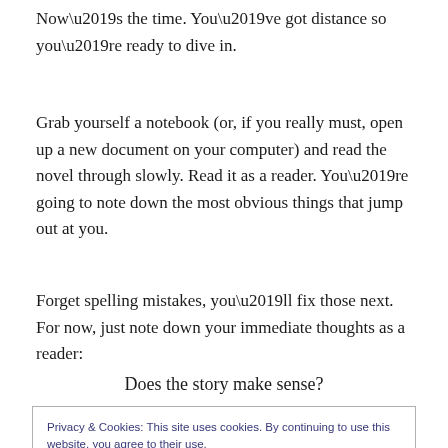Now’s the time. You’ve got distance so you’re ready to dive in.
Grab yourself a notebook (or, if you really must, open up a new document on your computer) and read the novel through slowly. Read it as a reader. You’re going to note down the most obvious things that jump out at you.
Forget spelling mistakes, you’ll fix those next. For now, just note down your immediate thoughts as a reader:
Does the story make sense?
Privacy & Cookies: This site uses cookies. By continuing to use this website, you agree to their use.
To find out more, including how to control cookies, see here: Cookie Policy